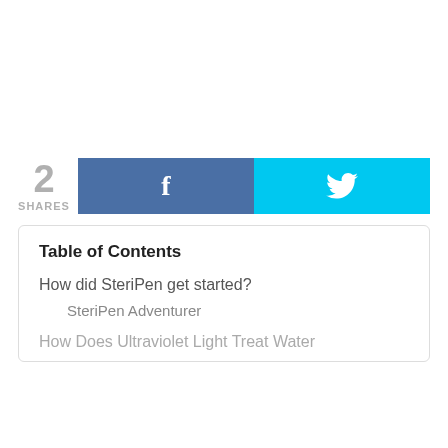[Figure (infographic): Social share bar with count '2 SHARES', Facebook button with 'f' icon, Twitter button with bird icon]
Table of Contents
How did SteriPen get started?
SteriPen Adventurer
How Does Ultraviolet Light Treat Water